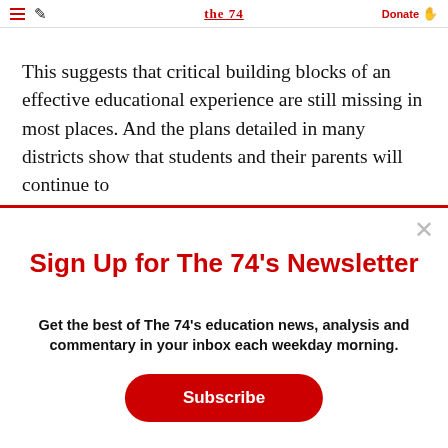The 74 | Donate
This suggests that critical building blocks of an effective educational experience are still missing in most places. And the plans detailed in many districts show that students and their parents will continue to
Sign Up for The 74's Newsletter
Get the best of The 74's education news, analysis and commentary in your inbox each weekday morning.
Subscribe